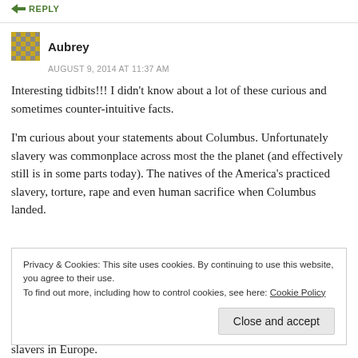REPLY
Aubrey
AUGUST 9, 2014 AT 11:37 AM
Interesting tidbits!!! I didn't know about a lot of these curious and sometimes counter-intuitive facts.
I'm curious about your statements about Columbus. Unfortunately slavery was commonplace across most the the planet (and effectively still is in some parts today). The natives of the America's practiced slavery, torture, rape and even human sacrifice when Columbus landed.
Privacy & Cookies: This site uses cookies. By continuing to use this website, you agree to their use.
To find out more, including how to control cookies, see here: Cookie Policy
Close and accept
slavers in Europe.